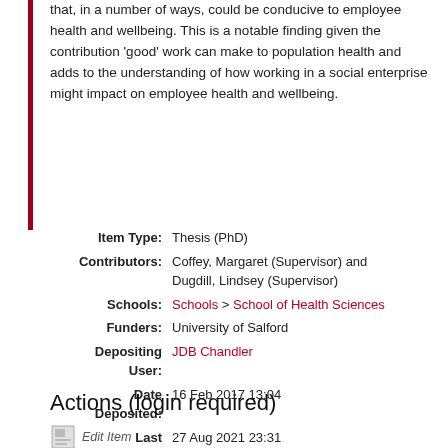that, in a number of ways, could be conducive to employee health and wellbeing. This is a notable finding given the contribution 'good' work can make to population health and adds to the understanding of how working in a social enterprise might impact on employee health and wellbeing.
| Field | Value |
| --- | --- |
| Item Type: | Thesis (PhD) |
| Contributors: | Coffey, Margaret (Supervisor) and Dugdill, Lindsey (Supervisor) |
| Schools: | Schools > School of Health Sciences |
| Funders: | University of Salford |
| Depositing User: | JDB Chandler |
| Date Deposited: | 16 Feb 2017 13:04 |
| Last Modified: | 27 Aug 2021 23:31 |
| URI: | http://usir.salford.ac.uk/id/eprint/40753 |
Actions (login required)